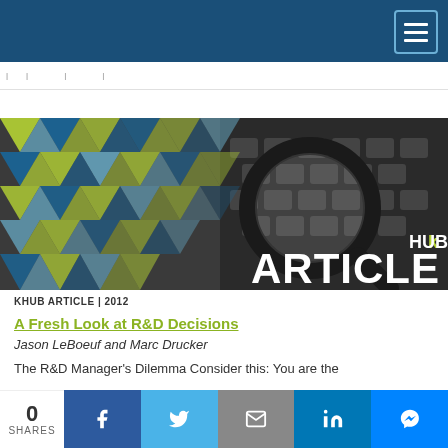kHUB navigation bar with hamburger menu
[Figure (illustration): kHUB Article banner with geometric triangle pattern in blue and yellow-green on left side, magnifying glass over keyboard on right, overlaid with 'kHUB ARTICLE' text]
KHUB ARTICLE | 2012
A Fresh Look at R&D Decisions
Jason LeBoeuf and Marc Drucker
The R&D Manager's Dilemma Consider this: You are the
0 SHARES | Facebook | Twitter | Email | LinkedIn | Messenger